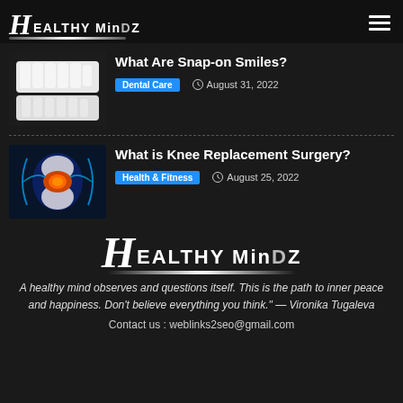Healthy MinDZ
What Are Snap-on Smiles?
Dental Care | August 31, 2022
[Figure (photo): Close-up of dental veneers/snap-on smiles teeth]
What is Knee Replacement Surgery?
Health & Fitness | August 25, 2022
[Figure (photo): Medical illustration of knee joint with orange/red highlighting on blue background]
[Figure (logo): Healthy MinDZ logo (large, centered, footer)]
A healthy mind observes and questions itself. This is the path to inner peace and happiness. Don’t believe everything you think.” — Vironika Tugaleva
Contact us : weblinks2seo@gmail.com